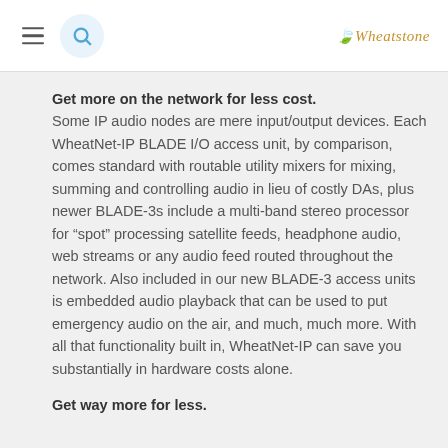Wheatstone
Get more on the network for less cost. Some IP audio nodes are mere input/output devices. Each WheatNet-IP BLADE I/O access unit, by comparison, comes standard with routable utility mixers for mixing, summing and controlling audio in lieu of costly DAs, plus newer BLADE-3s include a multi-band stereo processor for “spot” processing satellite feeds, headphone audio, web streams or any audio feed routed throughout the network. Also included in our new BLADE-3 access units is embedded audio playback that can be used to put emergency audio on the air, and much, much more. With all that functionality built in, WheatNet-IP can save you substantially in hardware costs alone.
Get way more for less.